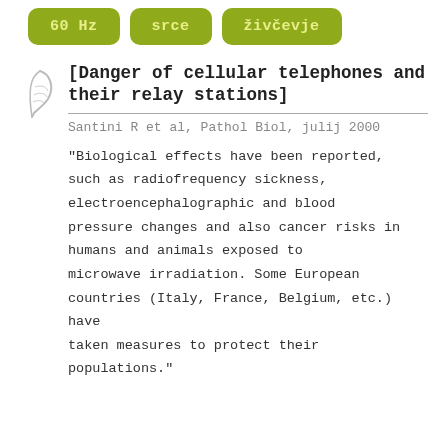[Figure (other): Three olive/yellow-green rounded rectangle buttons with text: '60 Hz', 'srce', 'živčevje']
[Danger of cellular telephones and their relay stations]
Santini R et al, Pathol Biol, julij 2000
"Biological effects have been reported, such as radiofrequency sickness, electroencephalographic and blood pressure changes and also cancer risks in humans and animals exposed to microwave irradiation. Some European countries (Italy, France, Belgium, etc.) have taken measures to protect their populations."